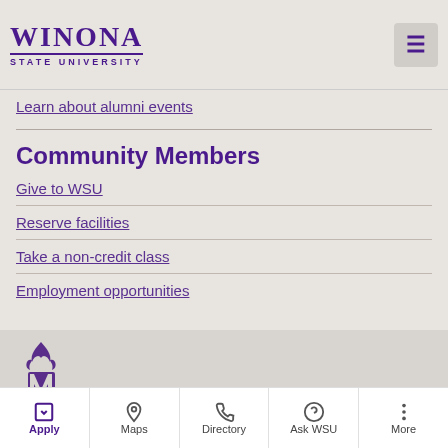Winona State University
Learn about alumni events
Community Members
Give to WSU
Reserve facilities
Take a non-credit class
Employment opportunities
[Figure (logo): Winona State University torch/flame logo mark in purple]
Winona State University | P.O. Box 5838 | 175 West Mark Street | Winona, MN 55987 | 507.457.5000 | 1.800.342.5978
Winona State University is an equal opportunity employer and educator | Privacy | Contact Us
Apply  Maps  Directory  Ask WSU  More